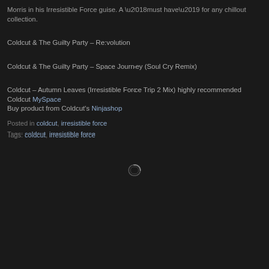Morris in his Irresistible Force guise. A ‘must have’ for any chillout collection.
Coldcut & The Guilty Party – Re:volution
Coldcut & The Guilty Party – Space Journey (Soul Cry Remix)
Coldcut – Autumn Leaves (Irresistible Force Trip 2 Mix) highly recommended
Coldcut MySpace
Buy product from Coldcut’s Ninjashop
Posted in coldcut, irresistible force
Tags: coldcut, irresistible force
[Figure (other): Loading spinner icon in dark background]